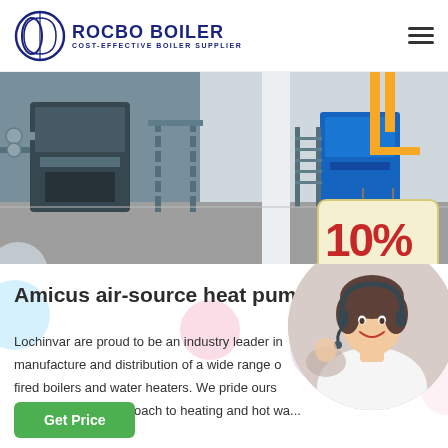ROCBO BOILER | COST-EFFECTIVE BOILER SUPPLIER
[Figure (photo): Industrial boiler room showing large blue boilers with yellow gas pipes, metal staircases, and equipment in a factory setting. A 10% DISCOUNT badge is overlaid on the lower right.]
Amicus air-source heat pump | Lo...
Lochinvar are proud to be an industry leader in manufacture and distribution of a wide range of fired boilers and water heaters. We pride ours solutions driven approach to heating and hot wa...
[Figure (photo): Customer service representative woman wearing a headset, smiling, with another agent in background.]